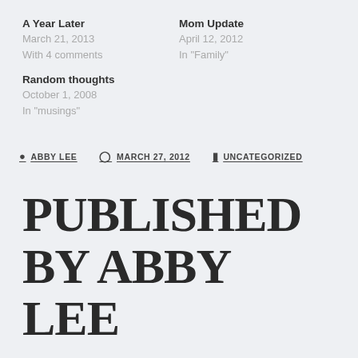A Year Later
March 21, 2013
With 4 comments
Mom Update
April 12, 2012
In "Family"
Random thoughts
October 1, 2008
In "musings"
ABBY LEE   MARCH 27, 2012   UNCATEGORIZED
PUBLISHED BY ABBY LEE
Celebrating and decorating with purpose is my favorite thing to do. When I am not filling a tree with